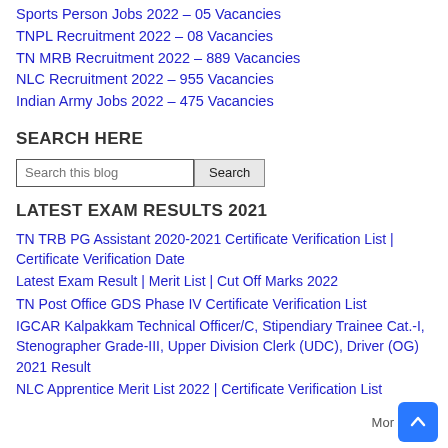Sports Person Jobs 2022 – 05 Vacancies
TNPL Recruitment 2022 – 08 Vacancies
TN MRB Recruitment 2022 – 889 Vacancies
NLC Recruitment 2022 – 955 Vacancies
Indian Army Jobs 2022 – 475 Vacancies
SEARCH HERE
Search this blog [Search button]
LATEST EXAM RESULTS 2021
TN TRB PG Assistant 2020-2021 Certificate Verification List | Certificate Verification Date
Latest Exam Result | Merit List | Cut Off Marks 2022
TN Post Office GDS Phase IV Certificate Verification List
IGCAR Kalpakkam Technical Officer/C, Stipendiary Trainee Cat.-I, Stenographer Grade-III, Upper Division Clerk (UDC), Driver (OG) 2021 Result
NLC Apprentice Merit List 2022 | Certificate Verification List
More